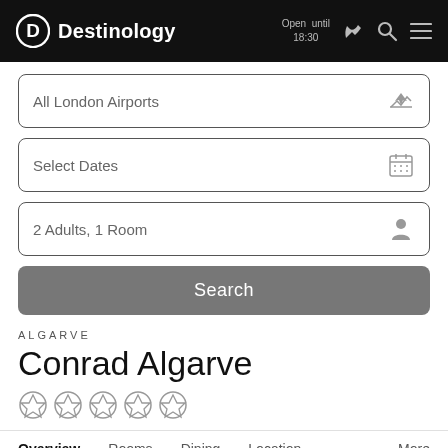Destinology — Open until 18:30
All London Airports
Select Dates
2 Adults, 1 Room
Search
ALGARVE
Conrad Algarve
[Figure (other): Five diamond/star rating icons in grey]
Overview  Rooms  Dining  Location  More